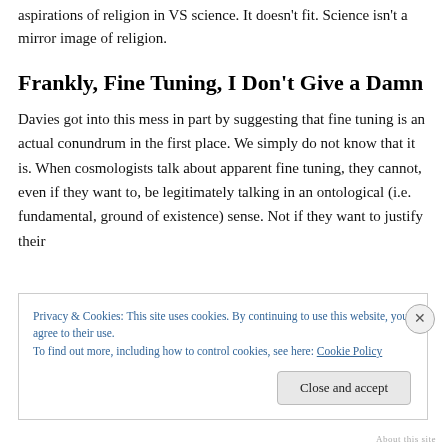aspirations of religion in VS science. It doesn't fit. Science isn't a mirror image of religion.
Frankly, Fine Tuning, I Don't Give a Damn
Davies got into this mess in part by suggesting that fine tuning is an actual conundrum in the first place. We simply do not know that it is. When cosmologists talk about apparent fine tuning, they cannot, even if they want to, be legitimately talking in an ontological (i.e. fundamental, ground of existence) sense. Not if they want to justify their claims with scientific scrutiny. And not that t...
Privacy & Cookies: This site uses cookies. By continuing to use this website, you agree to their use.
To find out more, including how to control cookies, see here: Cookie Policy
Close and accept